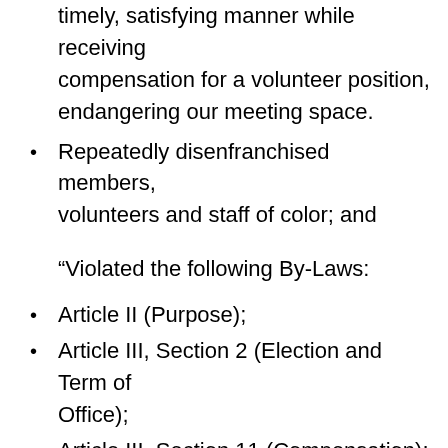timely, satisfying manner while receiving compensation for a volunteer position, endangering our meeting space.
Repeatedly disenfranchised members, volunteers and staff of color; and
“Violated the following By-Laws:
Article II (Purpose);
Article III, Section 2 (Election and Term of Office);
Article III, Section 11 (Compensation);
Article IV (Annual Meeting);
Article V, Section 1 (Officers);